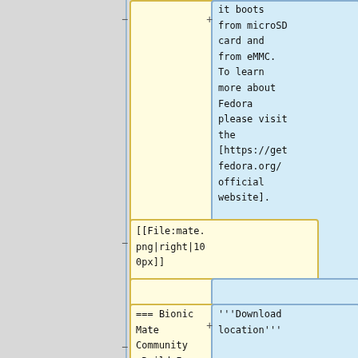it boots from microSD card and from eMMC. To learn more about Fedora please visit the [https://getfedora.org/official website].
[[File:mate.png|right|100px]]
=== Bionic Mate Community Build Image
'''Download location'''